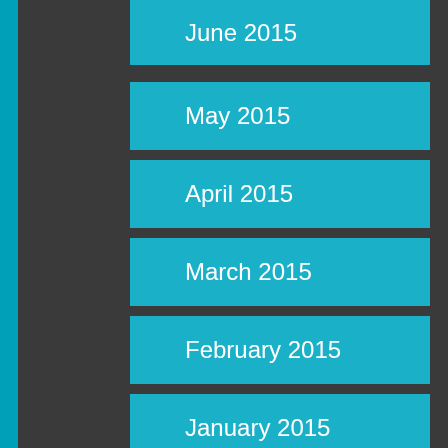June 2015
May 2015
April 2015
March 2015
February 2015
January 2015
December 2014
November 2014